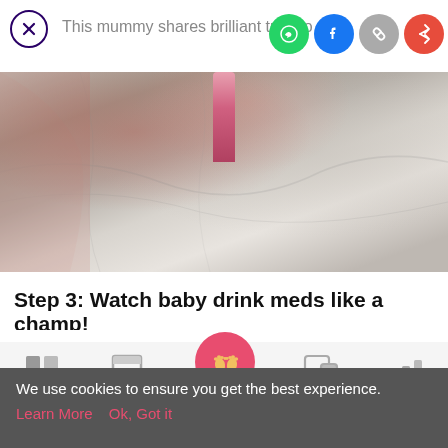[Figure (screenshot): Close button (X) in dark purple circle in top-left corner]
This mummy shares brilliant trick to m
[Figure (other): Social share icons: WhatsApp (green), Facebook (blue), copy link (grey), share (red)]
[Figure (photo): Photo showing a baby blanket/towel scene with a pink medicine bottle in the center]
Step 3: Watch baby drink meds like a champ!
[Figure (infographic): Bottom navigation bar with Tools, Articles, Home (baby feet icon on pink circle), Feed, Poll icons]
We use cookies to ensure you get the best experience.
Learn More   Ok, Got it